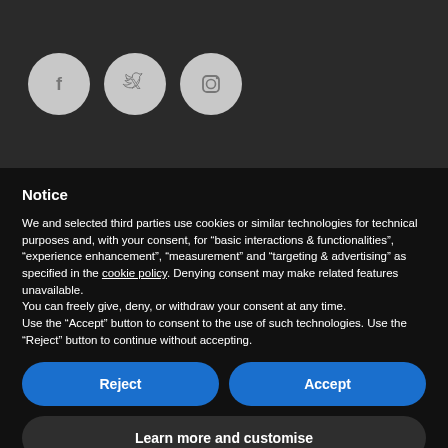[Figure (illustration): Three circular social media icon buttons on a dark background: Facebook (f), Twitter (bird), and Instagram (camera)]
Notice
We and selected third parties use cookies or similar technologies for technical purposes and, with your consent, for “basic interactions & functionalities”, “experience enhancement”, “measurement” and “targeting & advertising” as specified in the cookie policy. Denying consent may make related features unavailable.
You can freely give, deny, or withdraw your consent at any time.
Use the “Accept” button to consent to the use of such technologies. Use the “Reject” button to continue without accepting.
[Figure (other): Reject button (blue rounded pill button)]
[Figure (other): Accept button (blue rounded pill button)]
[Figure (other): Learn more and customise button (dark rounded pill button)]